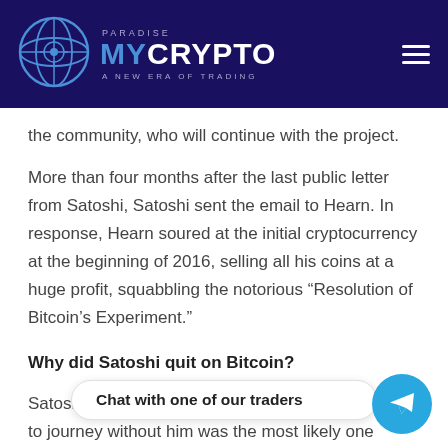MyCrypto Paradise — A New Era of Trading
the community, who will continue with the project.
More than four months after the last public letter from Satoshi, Satoshi sent the email to Hearn. In response, Hearn soured at the initial cryptocurrency at the beginning of 2016, selling all his coins at a huge profit, squabbling the notorious “Resolution of Bitcoin’s Experiment.”
Why did Satoshi quit on Bitcoin?
Satoshi’s hypothesis that he felt the ship was ready to journey without him was the most likely one behind the [obscured] no important post was on the Bitcointalk forum, where he mentioned Wikileaks embracing Bitcoin.
[Figure (other): Chat with one of our traders — Telegram chat button overlay]